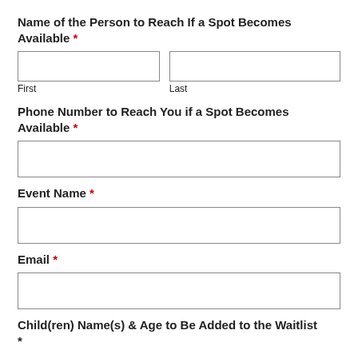Name of the Person to Reach If a Spot Becomes Available *
First
Last
Phone Number to Reach You if a Spot Becomes Available *
Event Name *
Email *
Child(ren) Name(s) & Age to Be Added to the Waitlist *